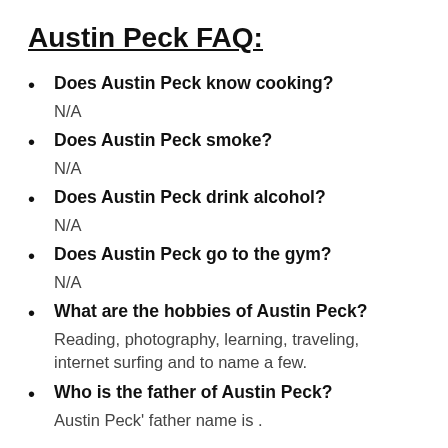Austin Peck FAQ:
Does Austin Peck know cooking?
N/A
Does Austin Peck smoke?
N/A
Does Austin Peck drink alcohol?
N/A
Does Austin Peck go to the gym?
N/A
What are the hobbies of Austin Peck?
Reading, photography, learning, traveling, internet surfing and to name a few.
Who is the father of Austin Peck?
Austin Peck' father name is .